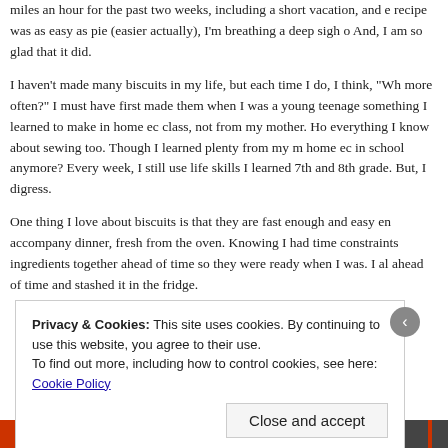miles an hour for the past two weeks, including a short vacation, and e recipe was as easy as pie (easier actually), I'm breathing a deep sigh o And, I am so glad that it did.
I haven't made many biscuits in my life, but each time I do, I think, "Wh more often?" I must have first made them when I was a young teenage something I learned to make in home ec class, not from my mother. Ho everything I know about sewing too. Though I learned plenty from my m home ec in school anymore? Every week, I still use life skills I learned 7th and 8th grade. But, I digress.
One thing I love about biscuits is that they are fast enough and easy en accompany dinner, fresh from the oven. Knowing I had time constraints ingredients together ahead of time so they were ready when I was. I al ahead of time and stashed it in the fridge.
Privacy & Cookies: This site uses cookies. By continuing to use this website, you agree to their use.
To find out more, including how to control cookies, see here: Cookie Policy